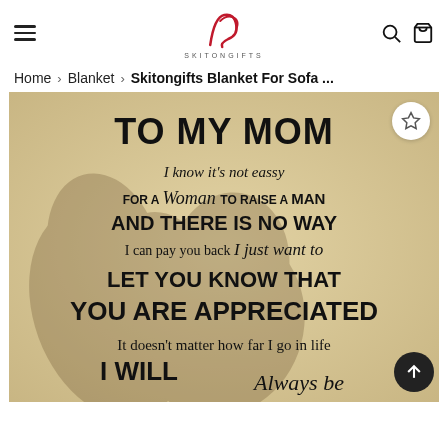Skitongifts website header with hamburger menu, logo, search and cart icons
Home > Blanket > Skitongifts Blanket For Sofa ...
[Figure (photo): Product photo of a blanket with text 'TO MY MOM I know it's not eassy FOR A Woman TO RAISE A MAN AND THERE IS NO WAY I can pay you back I just want to LET YOU KNOW THAT YOU ARE APPRECIATED It doesn't matter how far I go in life I WILL Always be' printed on a beige background with fist bump hands illustration. Wishlist star button in top right corner and scroll-to-top button on right side.]